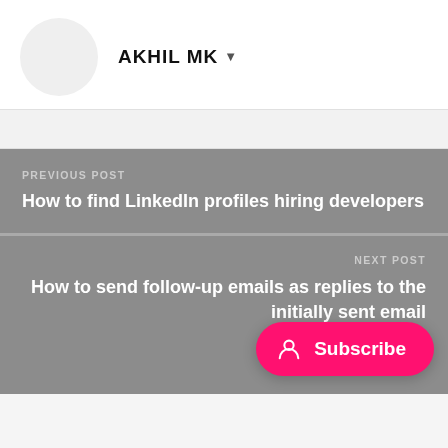[Figure (photo): Circular avatar placeholder, light gray background]
AKHIL MK ▾
PREVIOUS POST
How to find LinkedIn profiles hiring developers
NEXT POST
How to send follow-up emails as replies to the initially sent email
[Figure (other): Pink Subscribe button with user icon]